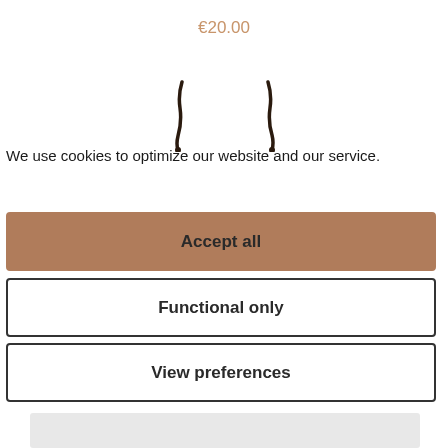€20.00
[Figure (photo): Two small dark dangling earring charms shown as partial product image]
We use cookies to optimize our website and our service.
Cookie Policy
Accept all
Functional only
View preferences
[Figure (other): Partial product image at bottom, light grey background]